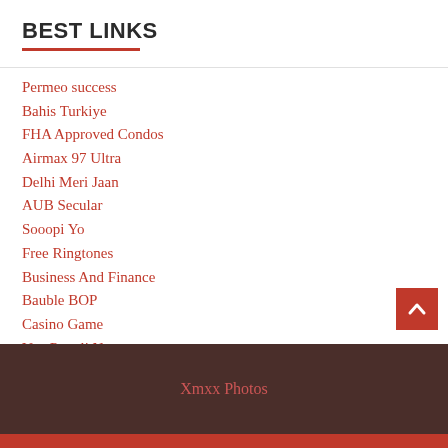BEST LINKS
Permeo success
Bahis Turkiye
FHA Approved Condos
Airmax 97 Ultra
Delhi Meri Jaan
AUB Secular
Sooopi Yo
Free Ringtones
Business And Finance
Bauble BOP
Casino Game
Vox Populi News
Xmxx Photos